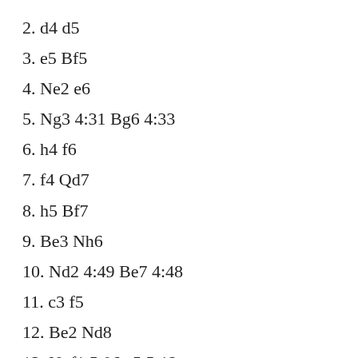2. d4 d5
3. e5 Bf5
4. Ne2 e6
5. Ng3 4:31 Bg6 4:33
6. h4 f6
7. f4 Qd7
8. h5 Bf7
9. Be3 Nh6
10. Nd2 4:49 Be7 4:48
11. c3 f5
12. Be2 Nd8
13. Ngf1 5:06 a5 5:12
14. a4 5:16 c6 5:17